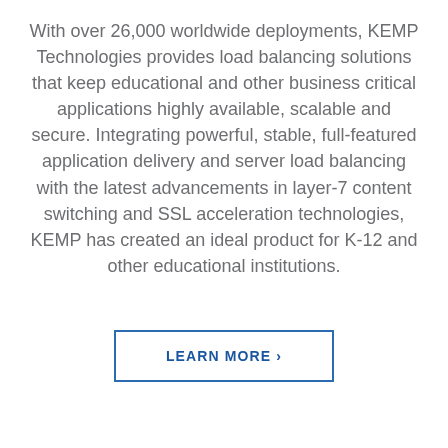With over 26,000 worldwide deployments, KEMP Technologies provides load balancing solutions that keep educational and other business critical applications highly available, scalable and secure. Integrating powerful, stable, full-featured application delivery and server load balancing with the latest advancements in layer-7 content switching and SSL acceleration technologies, KEMP has created an ideal product for K-12 and other educational institutions.
LEARN MORE ›